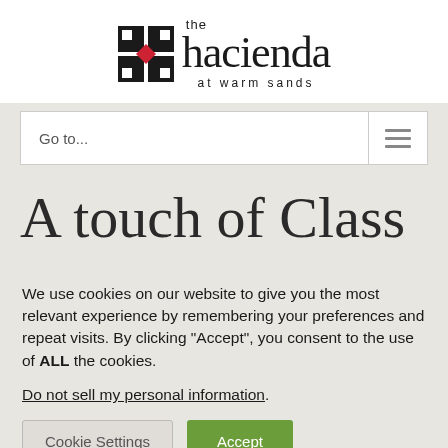[Figure (logo): The Hacienda at Warm Sands logo — black tile mosaic icon with red diamond center, serif wordmark 'the hacienda' with tagline 'at warm sands']
Go to...
A touch of Class
We use cookies on our website to give you the most relevant experience by remembering your preferences and repeat visits. By clicking “Accept”, you consent to the use of ALL the cookies.
Do not sell my personal information.
Cookie Settings
Accept